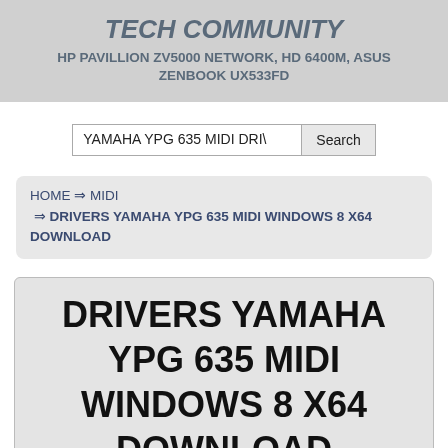TECH COMMUNITY
HP PAVILLION ZV5000 NETWORK, HD 6400M, ASUS ZENBOOK UX533FD
YAMAHA YPG 635 MIDI DRIV [Search]
HOME ⇒ MIDI ⇒ DRIVERS YAMAHA YPG 635 MIDI WINDOWS 8 X64 DOWNLOAD
DRIVERS YAMAHA YPG 635 MIDI WINDOWS 8 X64 DOWNLOAD